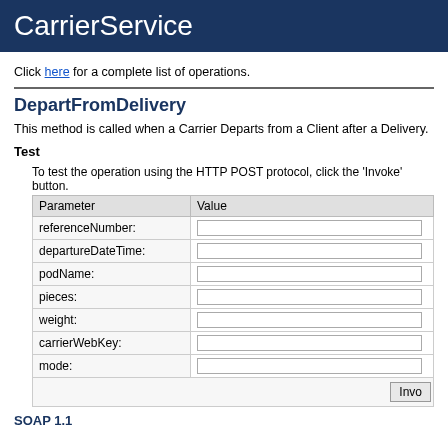CarrierService
Click here for a complete list of operations.
DepartFromDelivery
This method is called when a Carrier Departs from a Client after a Delivery.
Test
To test the operation using the HTTP POST protocol, click the 'Invoke' button.
| Parameter | Value |
| --- | --- |
| referenceNumber: |  |
| departureDateTime: |  |
| podName: |  |
| pieces: |  |
| weight: |  |
| carrierWebKey: |  |
| mode: |  |
SOAP 1.1